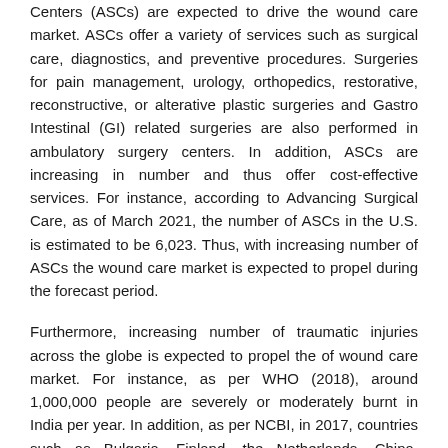Centers (ASCs) are expected to drive the wound care market. ASCs offer a variety of services such as surgical care, diagnostics, and preventive procedures. Surgeries for pain management, urology, orthopedics, restorative, reconstructive, or alterative plastic surgeries and Gastro Intestinal (GI) related surgeries are also performed in ambulatory surgery centers. In addition, ASCs are increasing in number and thus offer cost-effective services. For instance, according to Advancing Surgical Care, as of March 2021, the number of ASCs in the U.S. is estimated to be 6,023. Thus, with increasing number of ASCs the wound care market is expected to propel during the forecast period.
Furthermore, increasing number of traumatic injuries across the globe is expected to propel the of wound care market. For instance, as per WHO (2018), around 1,000,000 people are severely or moderately burnt in India per year. In addition, as per NCBI, in 2017, countries such as Bulgaria, Finland, the Netherlands, China, Australia,